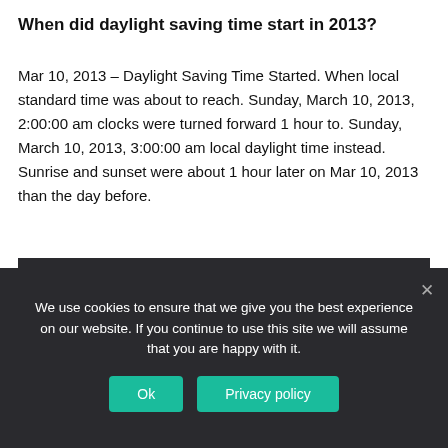When did daylight saving time start in 2013?
Mar 10, 2013 – Daylight Saving Time Started. When local standard time was about to reach. Sunday, March 10, 2013, 2:00:00 am clocks were turned forward 1 hour to. Sunday, March 10, 2013, 3:00:00 am local daylight time instead. Sunrise and sunset were about 1 hour later on Mar 10, 2013 than the day before.
[Figure (screenshot): Dark video player showing 'Video unavailable' message with exclamation icon. Text reads: 'This video is no longer available because the YouTube...' (truncated)]
We use cookies to ensure that we give you the best experience on our website. If you continue to use this site we will assume that you are happy with it. [Ok] [Privacy policy]